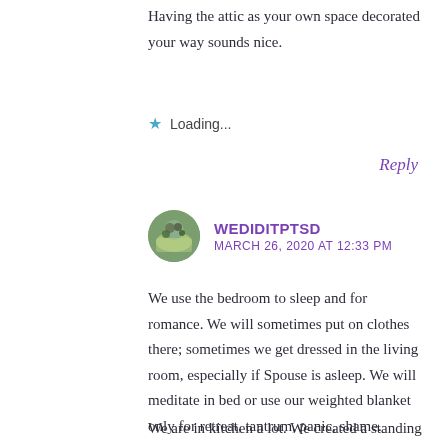Having the attic as your own space decorated your way sounds nice.
★ Loading...
Reply
[Figure (photo): Circular avatar photo of user WEDIDITPTSD showing a nature/animal scene]
WEDIDITPTSD
MARCH 26, 2020 AT 12:33 PM
We use the bedroom to sleep and for romance. We will sometimes put on clothes there; sometimes we get dressed in the living room, especially if Spouse is asleep. We will meditate in bed or use our weighted blanket only for retreat, tantrum, panic, shame.
We are in kitchen a lot. We created a standing